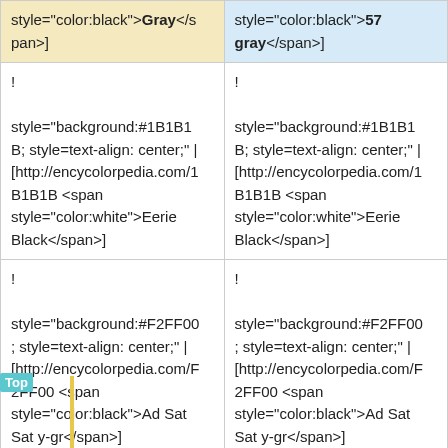| Col1 | Col2 |
| --- | --- |
| style="color:black">Gray</span>] | style="color:black">57 gray</span>] |
| !
style="background:#1B1B1B; style=text-align: center;" |
[http://encycolorpedia.com/1B1B1B <span style="color:white">Eerie Black</span>] | !
style="background:#1B1B1B; style=text-align: center;" |
[http://encycolorpedia.com/1B1B1B <span style="color:white">Eerie Black</span>] |
| !
style="background:#F2FF00; style=text-align: center;" |
[http://encycolorpedia.com/F2FF00 <span style="color:black">Ad Sat Sat y-gr</span>] | !
style="background:#F2FF00; style=text-align: center;" |
[http://encycolorpedia.com/F2FF00 <span style="color:black">Ad Sat Sat y-gr</span>] |
| !
style="background:#B07939; style=text-align: |  |